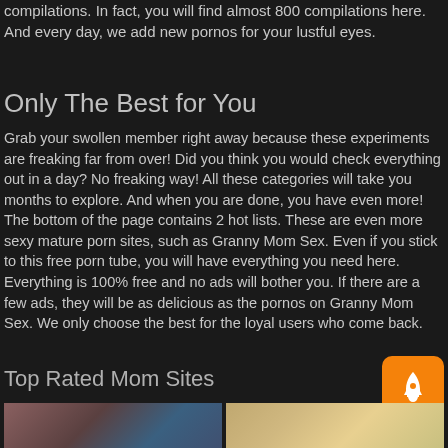compilations. In fact, you will find almost 800 compilations here. And every day, we add new pornos for your lustful eyes.
Only The Best for You
Grab your swollen member right away because these experiments are freaking far from over! Did you think you would check everything out in a day? No freaking way! All these categories will take you months to explore. And when you are done, you have even more! The bottom of the page contains 2 hot lists. These are even more sexy mature porn sites, such as Granny Mom Sex. Even if you stick to this free porn tube, you will have everything you need here. Everything is 100% free and no ads will bother you. If there are a few ads, they will be as delicious as the pornos on Granny Mom Sex. We only choose the best for the loyal users who come back.
Top Rated Mom Sites
[Figure (photo): Thumbnail image of a person, left side]
[Figure (photo): Thumbnail image of a blonde person, right side]